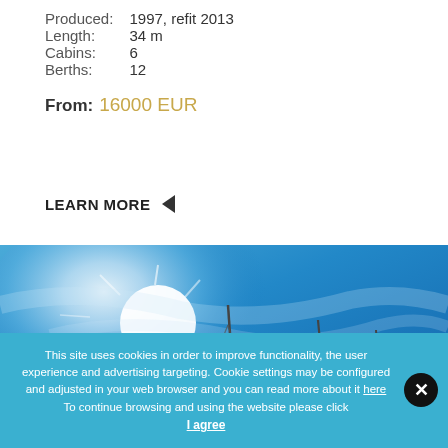Produced: 1997, refit 2013
Length: 34 m
Cabins: 6
Berths: 12
From: 16000 EUR
LEARN MORE ◄
[Figure (photo): Sailboat masts against a bright blue sky with sun glare]
This site uses cookies in order to improve functionality, the user experience and advertising targeting. Cookie settings may be configured and adjusted in your web browser and you can read more about it here
To continue browsing and using the website please click
I agree